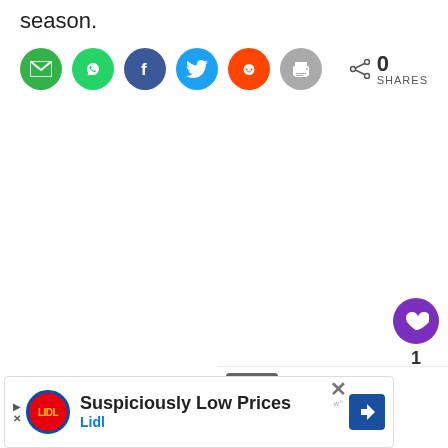season.
[Figure (infographic): Row of social share buttons: email (green), WhatsApp (green), Facebook (dark blue), Twitter (blue), Reddit (orange), print (gray), plus a share count showing 0 SHARES on the right]
[Figure (infographic): Floating action buttons on the right: purple heart icon, count '1', white share icon]
[Figure (infographic): What's Next panel with thumbnail image and text: 'WHAT'S NEXT → Survivor 41's ‘new era’...']
[Figure (infographic): Advertisement banner: Lidl 'Suspiciously Low Prices' ad with Lidl logo, blue diamond arrow icon, and close button]